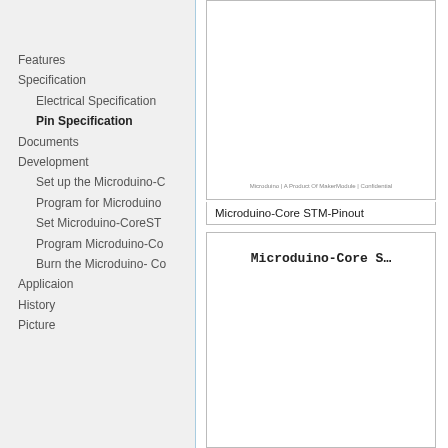Features
Specification
Electrical Specification
Pin Specification
Documents
Development
Set up the Microduino-C
Program for Microduino
Set Microduino-CoreST
Program Microduino-Co
Burn the Microduino- Co
Applicaion
History
Picture
[Figure (screenshot): Document preview showing top portion of Microduino-Core STM pinout document with footer text: Microduino | A Product Of MakerModule | Confidential]
Microduino-Core STM-Pinout
[Figure (screenshot): Document preview showing the beginning of Microduino-Core S page with bold title text]